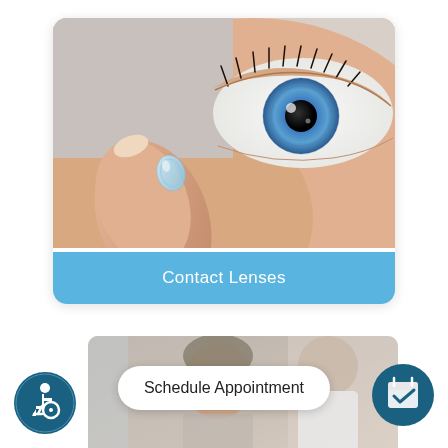[Figure (photo): Close-up of a person placing a contact lens on their fingertip near their eye with blue iris, macro photography]
Contact Lenses
[Figure (photo): Eye doctor examining a patient's eye in lower portion of page]
Schedule Appointment
[Figure (illustration): Wheelchair accessibility icon in dark teal circle]
[Figure (illustration): Calendar/appointment icon in dark teal circle]